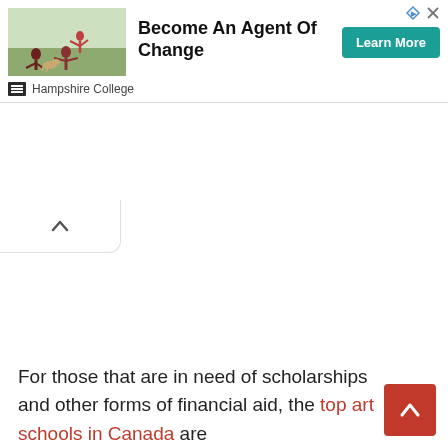[Figure (other): Advertisement banner for Hampshire College showing people doing acrobatic yoga poses outdoors, with text 'Become An Agent Of Change' and a teal 'Learn More' button. Hampshire College branding at bottom of ad.]
[Figure (other): Chevron/up-arrow tab UI element, white background with border]
For those that are in need of scholarships and other forms of financial aid, the top art schools in Canada are
[Figure (other): Red back-to-top button with white chevron/up arrow]